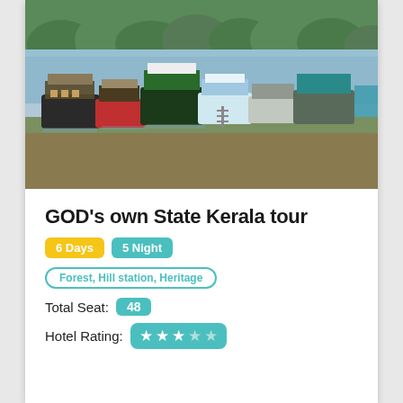[Figure (photo): Photo of multiple boats/houseboats docked along a riverbank with green trees and water in the background, Kerala backwaters scene.]
GOD's own State Kerala tour
6 Days  5 Night
Forest, Hill station, Heritage
Total Seat: 48
Hotel Rating: ★★★☆☆